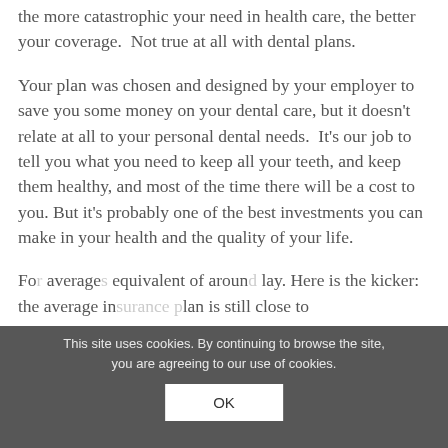the more catastrophic your need in health care, the better your coverage.  Not true at all with dental plans.
Your plan was chosen and designed by your employer to save you some money on your dental care, but it doesn't relate at all to your personal dental needs.  It's our job to tell you what you need to keep all your teeth, and keep them healthy, and most of the time there will be a cost to you. But it's probably one of the best investments you can make in your health and the quality of your life.
Fo... average... equivalent of around ... lay.  Here is the kicker: the average insurance plan is still close to